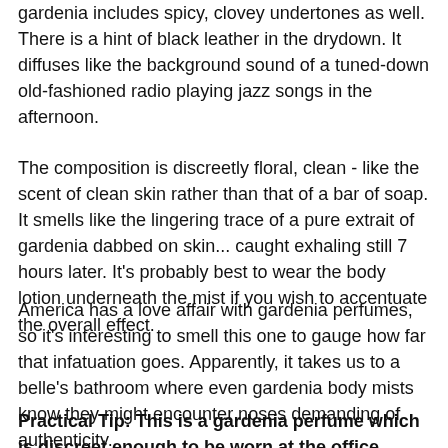gardenia includes spicy, clovey undertones as well. There is a hint of black leather in the drydown. It diffuses like the background sound of a tuned-down old-fashioned radio playing jazz songs in the afternoon.
The composition is discreetly floral, clean - like the scent of clean skin rather than that of a bar of soap. It smells like the lingering trace of a pure extrait of gardenia dabbed on skin... caught exhaling still 7 hours later. It's probably best to wear the body lotion underneath the mist if you wish to accentuate the overall effect.
America has a love affair with gardenia perfumes, so it's interesting to smell this one to gauge how far that infatuation goes. Apparently, it takes us to a belle's bathroom where even gardenia body mists know they might encounter noses demanding of authenticity.
Practical Tip: This is a gardenia perfume which is discreet enough to be worn at the office.